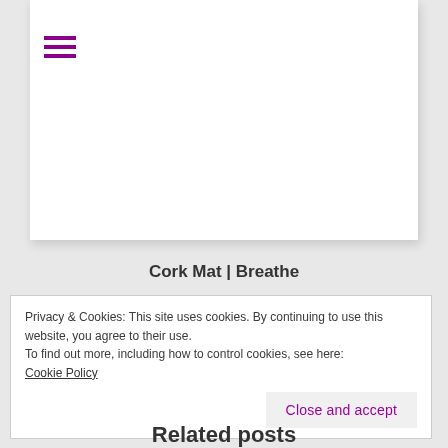[Figure (screenshot): White card/panel area with hamburger menu icon (three purple horizontal lines) in the top-left corner]
Cork Mat | Breathe
Privacy & Cookies: This site uses cookies. By continuing to use this website, you agree to their use.
To find out more, including how to control cookies, see here:
Cookie Policy
Close and accept
Related posts